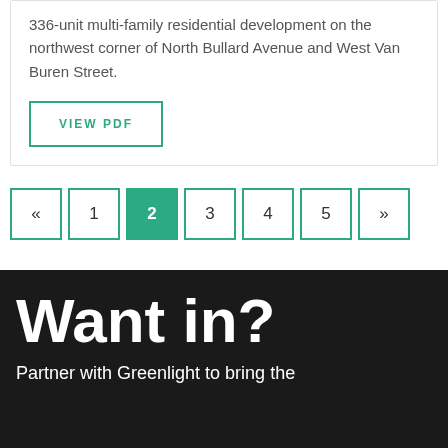336-unit multi-family residential development on the northwest corner of North Bullard Avenue and West Van Buren Street.
VIEW PDF
« 1 2 3 4 5 »
Want in?
Partner with Greenlight to bring the